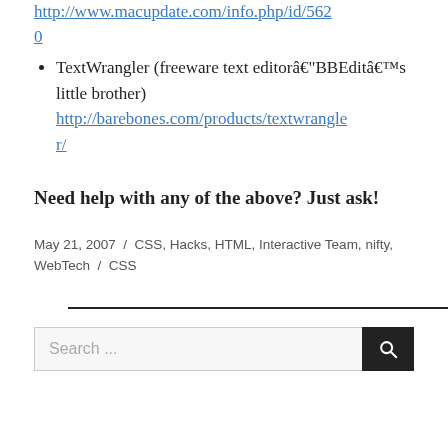http://www.macupdate.com/info.php/id/5620
TextWrangler (freeware text editorâ€“BBEditâ€™s little brother) http://barebones.com/products/textwrangler/
Need help with any of the above? Just ask!
May 21, 2007  /  CSS, Hacks, HTML, Interactive Team, nifty, WebTech  /  CSS
Search...